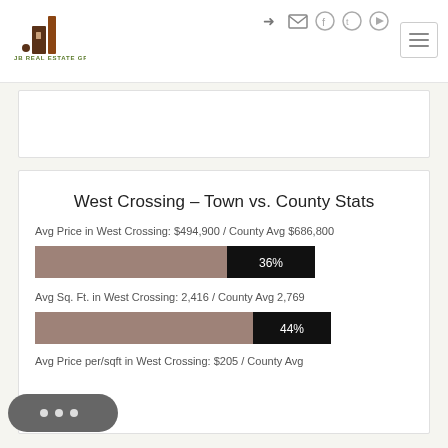[Figure (logo): JB Real Estate Group logo with brown building icon and green text]
West Crossing - Town vs. County Stats
Avg Price in West Crossing: $494,900 / County Avg $686,800
[Figure (bar-chart): Avg Price comparison]
Avg Sq. Ft. in West Crossing: 2,416 / County Avg 2,769
[Figure (bar-chart): Avg Sq Ft comparison]
Avg Price per/sqft in West Crossing: $205 / County Avg